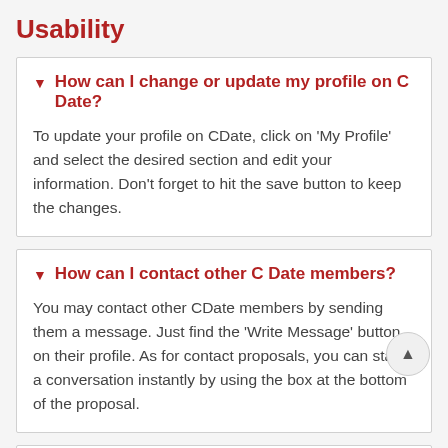Usability
How can I change or update my profile on C Date?
To update your profile on CDate, click on 'My Profile' and select the desired section and edit your information. Don't forget to hit the save button to keep the changes.
How can I contact other C Date members?
You may contact other CDate members by sending them a message. Just find the 'Write Message' button on their profile. As for contact proposals, you can start a conversation instantly by using the box at the bottom of the proposal.
How can I stop email alerts on C Date?